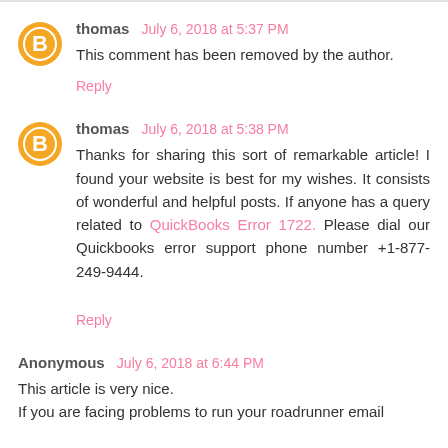thomas  July 6, 2018 at 5:37 PM
This comment has been removed by the author.
Reply
thomas  July 6, 2018 at 5:38 PM
Thanks for sharing this sort of remarkable article! I found your website is best for my wishes. It consists of wonderful and helpful posts. If anyone has a query related to QuickBooks Error 1722. Please dial our Quickbooks error support phone number +1-877-249-9444.
Reply
Anonymous  July 6, 2018 at 6:44 PM
This article is very nice.
If you are facing problems to run your roadrunner email